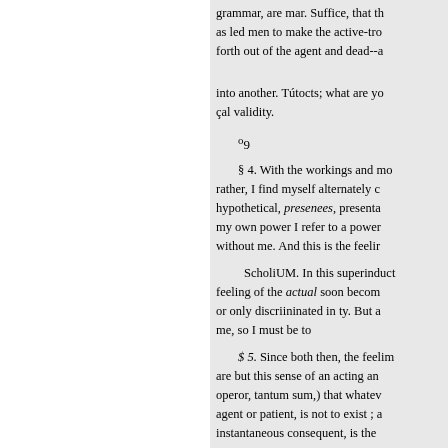grammar, are mar. Suffice, that th as led men to make the active-tr forth out of the agent and dead--a into another. Tútocts; what are yo çal validity.
09
§ 4. With the workings and mo rather, I find myself alternately c hypothetical, presenees, presenta my own power I refer to a power without me. And this is the feelir
ScholiUM. In this superinduct feeling of the actual soon becom or only discriininated in ty. But a me, so I must be to
$ 5. Since both then, the feelim are but this sense of an acting an operor, tantum sum,) that whatev agent or patient, is not to exist ; a instantaneous consequent, is the